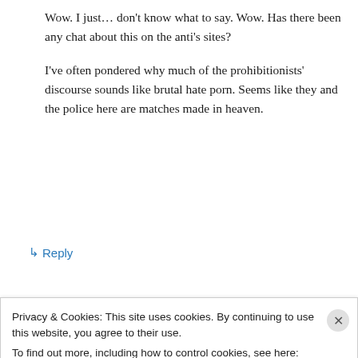Wow. I just… don't know what to say. Wow. Has there been any chat about this on the anti's sites?
I've often pondered why much of the prohibitionists' discourse sounds like brutal hate porn. Seems like they and the police here are matches made in heaven.
↳ Reply
Anna on June 6, 2016 at 7:16 am
Privacy & Cookies: This site uses cookies. By continuing to use this website, you agree to their use.
To find out more, including how to control cookies, see here: Cookie Policy